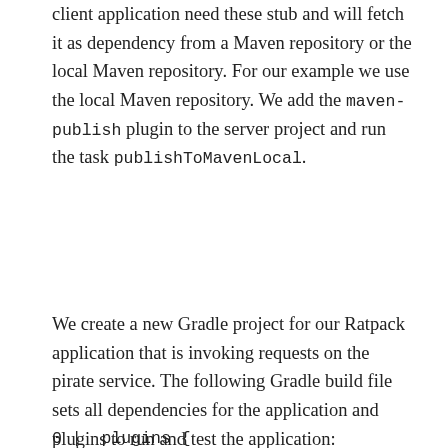client application need these stub and will fetch it as dependency from a Maven repository or the local Maven repository. For our example we use the local Maven repository. We add the maven-publish plugin to the server project and run the task publishToMavenLocal.
We create a new Gradle project for our Ratpack application that is invoking requests on the pirate service. The following Gradle build file sets all dependencies for the application and plugins to run and test the application:
0 |  plugins {